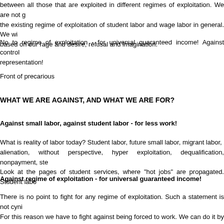between all those that are exploited in different regimes of exploitation. We are not g the existing regime of exploitation of student labor and wage labor in general. We wi based on our rage and desire, refusal and imagination.
No to regime of exploitation - for universal guaranteed income! Against control representation!
Front of precarious
WHAT WE ARE AGAINST, AND WHAT WE ARE FOR?
Against small labor, against student labor - for less work!
What is reality of labor today? Student labor, future small labor, migrant labor, alienation, without perspective, hyper exploitation, dequalification, nonpayment, ste Look at the pages of student services, where "hot jobs" are propagated. Student labo
Against regime of exploitation - for universal guaranteed income!
There is no point to fight for any regime of exploitation. Such a statement is not cyni For this reason we have to fight against being forced to work. We can do it by strug forms of social spending - free transport, free housing, free communication, free cu let's force exploiters to pay! Our power to produce is absolutely bigger than forms of called labor market. Let's fight for new guarantees and let's destroy labor market! Fo